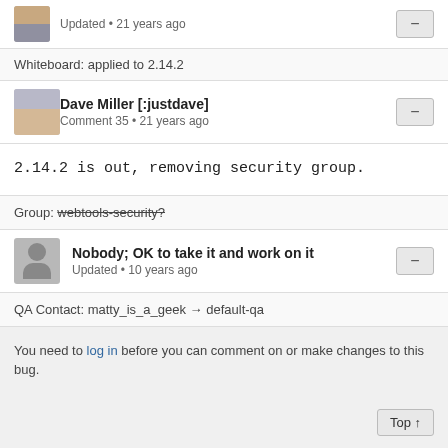Updated • 21 years ago
Whiteboard: applied to 2.14.2
Dave Miller [:justdave]
Comment 35 • 21 years ago
2.14.2 is out, removing security group.
Group: webtools-security?
Nobody; OK to take it and work on it
Updated • 10 years ago
QA Contact: matty_is_a_geek → default-qa
You need to log in before you can comment on or make changes to this bug.